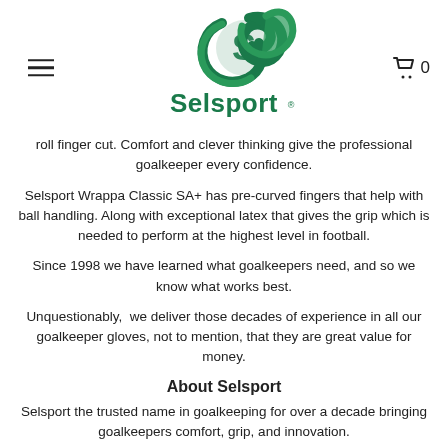[Figure (logo): Selsport logo with green swirl S icon and Selsport text in green]
roll finger cut. Comfort and clever thinking give the professional goalkeeper every confidence.
Selsport Wrappa Classic SA+ has pre-curved fingers that help with ball handling. Along with exceptional latex that gives the grip which is needed to perform at the highest level in football.
Since 1998 we have learned what goalkeepers need, and so we know what works best.
Unquestionably, we deliver those decades of experience in all our goalkeeper gloves, not to mention, that they are great value for money.
About Selsport
Selsport the trusted name in goalkeeping for over a decade bringing goalkeepers comfort, grip, and innovation.
We have learned what goalkeepers require, what works best and we deliver that experience in all our goalkeeper gloves.